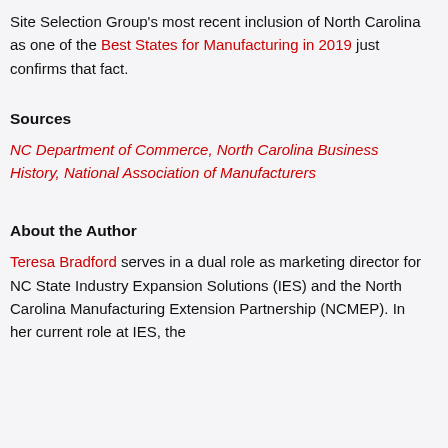Site Selection Group's most recent inclusion of North Carolina as one of the Best States for Manufacturing in 2019 just confirms that fact.
Sources
NC Department of Commerce, North Carolina Business History, National Association of Manufacturers
About the Author
Teresa Bradford serves in a dual role as marketing director for NC State Industry Expansion Solutions (IES) and the North Carolina Manufacturing Extension Partnership (NCMEP). In her current role at IES, the